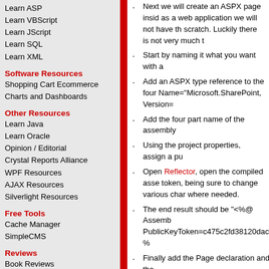Learn ASP
Learn VBScript
Learn JScript
Learn SQL
Learn XML
Software Resources
Shopping Cart Ecommerce
Charts and Dashboards
Other Resources
Learn Java
Learn Oracle
Opinion / Editorial
Crystal Reports Alliance
WPF Resources
AJAX Resources
Silverlight Resources
Free Tools
Cache Manager
SimpleCMS
Reviews
Book Reviews
Product Reviews
Expert Advice
Books
ASP.NET Developer's
Next we will create an ASPX page inside... as a web application we will not have the... scratch. Luckily there is not very much t...
Start by naming it what you want with a...
Add an ASPX type reference to the four... Name="Microsoft.SharePoint, Version=...
Add the four part name of the assembly...
Using the project properties, assign a pu...
Open Reflector, open the compiled asse... token, being sure to change various char... where needed.
The end result should be "<%@ Assembl... PublicKeyToken=c475c2fd38120dac" %...
Finally add the Page declaration and the... MasterPageFile="~/_layouts/application... EnableViewStateMac="false" %>".
Notice the location of the MasterPageFi...
Before I continue, I want to give credit t... http://aspalliance.com/1376_Customizin... pages. He also references the Microsoft... us/sharepointdesigner/HA10165120103... descriptions that you will find helpful.